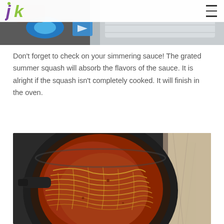jk logo and hamburger menu
[Figure (photo): Top portion of a stove burner with blue flame visible, stainless steel surface]
Don't forget to check on your simmering sauce! The grated summer squash will absorb the flavors of the sauce. It is alright if the squash isn't completely cooked. It will finish in the oven.
[Figure (photo): A large dark non-stick pan on a stove top containing tomato sauce with grated summer squash mixed in, simmering on the stove. Granite countertop visible on the right.]